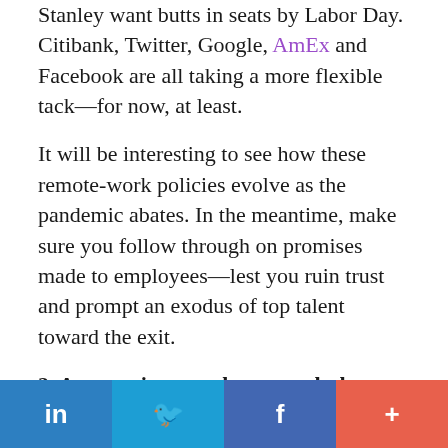Stanley want butts in seats by Labor Day. Citibank, Twitter, Google, AmEx and Facebook are all taking a more flexible tack—for now, at least.
It will be interesting to see how these remote-work policies evolve as the pandemic abates. In the meantime, make sure you follow through on promises made to employees—lest you ruin trust and prompt an exodus of top talent toward the exit.
2. Are vaccine mandates worth the risk?
So far, the law is firmly on the side of employers choosing to mandate employee vaccinations. Despite a flurry of lawsuits protesting vaccine requirements—including a high-profile case of 117 Texas hospital workers refusing to get the shot—none have so far
[Figure (infographic): Social sharing bar with LinkedIn (dark blue), Twitter (light blue), Facebook (medium blue), and a plus/more button (orange-red)]